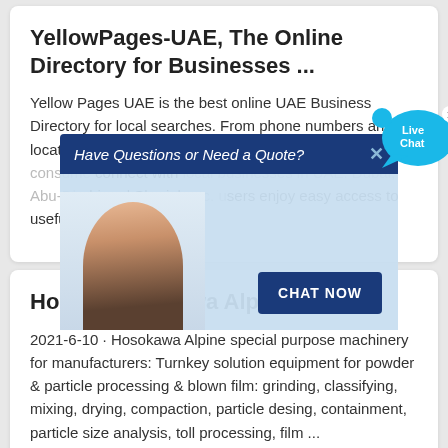YellowPages-UAE, The Online Directory for Businesses ...
Yellow Pages UAE is the best online UAE Business Directory for local searches. From phone numbers and location maps to links to business websites and consumer connect with local businesses in UAE. Dubai, Abu-Dhabi and Sharjah etc. users enjoy easy access to useful local information.
[Figure (screenshot): Live chat popup overlay with header 'Have Questions or Need a Quote?', a customer service representative image, and a 'CHAT NOW' button. A 'Live Chat' bubble appears in the top right corner.]
Home | Hosokawa Alpine
2021-6-10 · Hosokawa Alpine special purpose machinery for manufacturers: Turnkey solution equipment for powder & particle processing & blown film: grinding, classifying, mixing, drying, compaction, particle desing, containment, particle size analysis, toll processing, film ...